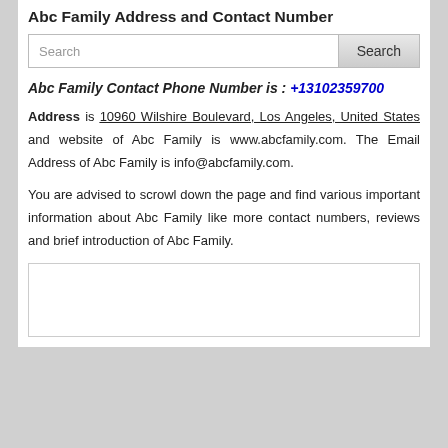Abc Family Address and Contact Number
[Figure (other): Search bar with text input and Search button]
Abc Family Contact Phone Number is : +13102359700
Address is 10960 Wilshire Boulevard, Los Angeles, United States and website of Abc Family is www.abcfamily.com. The Email Address of Abc Family is info@abcfamily.com.
You are advised to scrowl down the page and find various important information about Abc Family like more contact numbers, reviews and brief introduction of Abc Family.
[Figure (other): Empty white box at the bottom of the page]